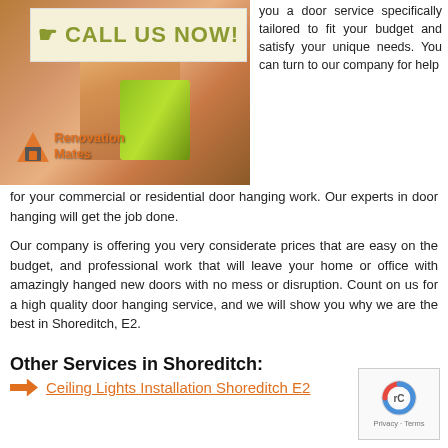[Figure (photo): Photo of hands using a power drill on wooden door frame, with Renovation Mates logo overlay and 'CALL US NOW!' banner]
you a door service specifically tailored to fit your budget and satisfy your unique needs. You can turn to our company for help for your commercial or residential door hanging work. Our experts in door hanging will get the job done.
Our company is offering you very considerate prices that are easy on the budget, and professional work that will leave your home or office with amazingly hanged new doors with no mess or disruption. Count on us for a high quality door hanging service, and we will show you why we are the best in Shoreditch, E2.
Other Services in Shoreditch:
Ceiling Lights Installation Shoreditch E2